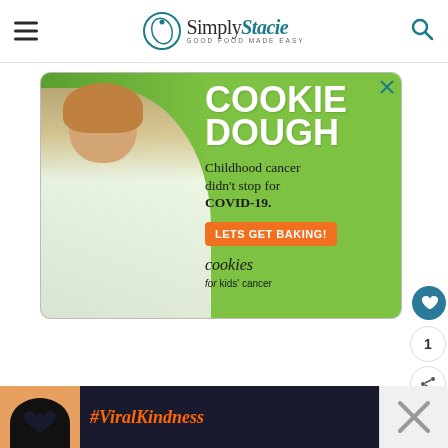Simply Stacie - Good Food Made Easy
[Figure (photo): Advertisement for Cookies for Kids' Cancer: green background with smiling girl holding a jar of cash, text reads COOKIE DOUGH, Childhood cancer didn't stop for COVID-19. LETS GET BAKING! cookies for kids' cancer]
[Figure (photo): Bottom advertisement strip with dark background showing hands making a heart shape and text #ViralKindness]